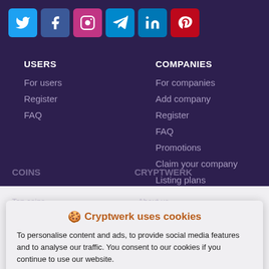[Figure (other): Row of 6 social media icon buttons: Twitter (blue), Facebook (dark blue), Instagram (pink/red), Telegram (blue), LinkedIn (blue), Pinterest (red)]
USERS
For users
Register
FAQ
COMPANIES
For companies
Add company
Register
FAQ
Promotions
Claim your company
Listing plans
Widgets
COINS
CRYPTWERK
🍪 Cryptwerk uses cookies
To personalise content and ads, to provide social media features and to analyse our traffic. You consent to our cookies if you continue to use our website.